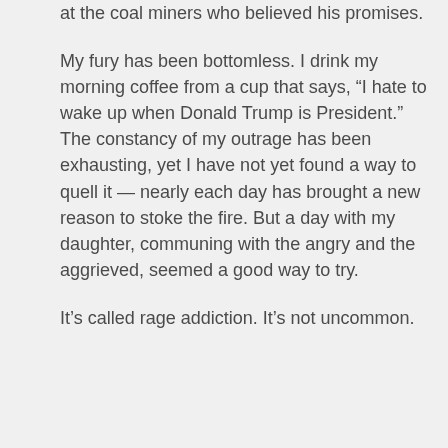at the coal miners who believed his promises.
My fury has been bottomless. I drink my morning coffee from a cup that says, “I hate to wake up when Donald Trump is President.” The constancy of my outrage has been exhausting, yet I have not yet found a way to quell it — nearly each day has brought a new reason to stoke the fire. But a day with my daughter, communing with the angry and the aggrieved, seemed a good way to try.
It’s called rage addiction. It’s not uncommon.